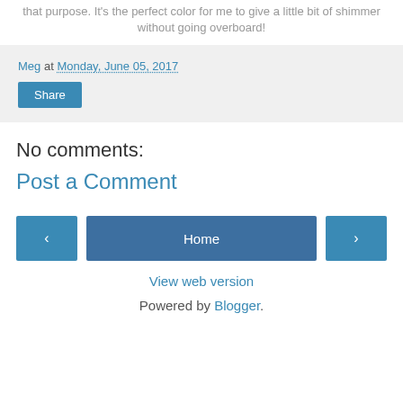that purpose. It's the perfect color for me to give a little bit of shimmer without going overboard!
Meg at Monday, June 05, 2017
Share
No comments:
Post a Comment
‹  Home  ›
View web version
Powered by Blogger.